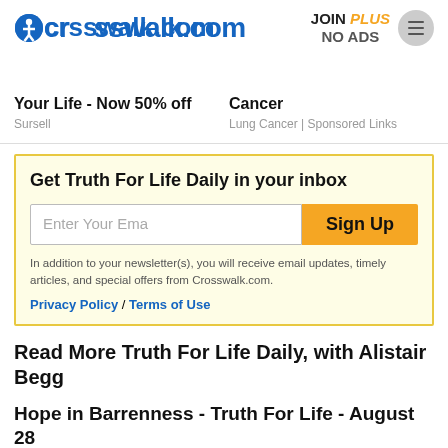crosswalk.com | JOIN PLUS NO ADS
Your Life - Now 50% off
Sursell
Cancer
Lung Cancer | Sponsored Links
Get Truth For Life Daily in your inbox
Enter Your Ema | Sign Up
In addition to your newsletter(s), you will receive email updates, timely articles, and special offers from Crosswalk.com.
Privacy Policy / Terms of Use
Read More Truth For Life Daily, with Alistair Begg
Hope in Barrenness - Truth For Life - August 28